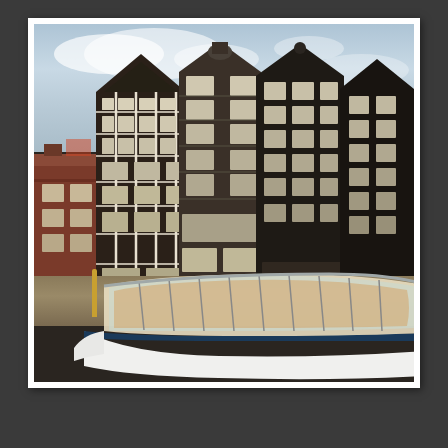[Figure (photo): Photograph of Amsterdam canal houses (tall, narrow, dark brick buildings with stepped/pointed gables) viewed from across a canal, with a glass-topped canal tour boat in the foreground and a partly cloudy sky above.]